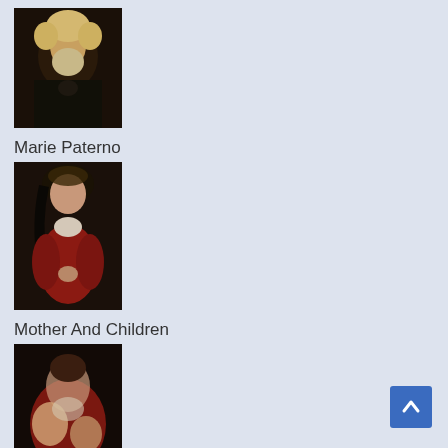[Figure (photo): Oil painting portrait of an elderly bearded man with curly white/blonde hair against a dark background]
Marie Paterno
[Figure (photo): Oil painting of a woman in a red dress with dark veil and pearl necklace, holding something in her hands, classical portrait style]
Mother And Children
[Figure (photo): Oil painting of a mother in red dress nursing or holding children, classical style with dark background]